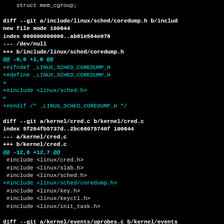struct mem_cgroup;
diff --git a/include/linux/sched/coredump.h b/include/linux/sched/coredump.h
new file mode 100644
index 000000000000..ab81e564e076
--- /dev/null
+++ b/include/linux/sched/coredump.h
@@ -0,0 +1,6 @@
+#ifndef _LINUX_SCHED_COREDUMP_H
+#define _LINUX_SCHED_COREDUMP_H
+
+#include <linux/sched.h>
+
+#endif /* _LINUX_SCHED_COREDUMP_H */
diff --git a/kernel/cred.c b/kernel/cred.c
index 5f264fb5737d..2bc66075740f 100644
--- a/kernel/cred.c
+++ b/kernel/cred.c
@@ -12,6 +12,7 @@
 #include <linux/cred.h>
 #include <linux/slab.h>
 #include <linux/sched.h>
+#include <linux/sched/coredump.h>
 #include <linux/key.h>
 #include <linux/keyctl.h>
 #include <linux/init_task.h>
diff --git a/kernel/events/uprobes.c b/kernel/events/uprobes.c
index 62f2dbd13efc..0e137f98a50c 100644